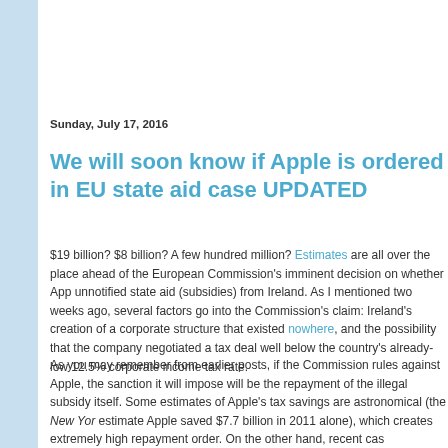Sunday, July 17, 2016
We will soon know if Apple is ordered in EU state aid case UPDATED
$19 billion? $8 billion? A few hundred million? Estimates are all over the place ahead of the European Commission's imminent decision on whether Apple received unnotified state aid (subsidies) from Ireland. As I mentioned two weeks ago, several factors go into the Commission's claim: Ireland's creation of a corporate structure that existed nowhere, and the possibility that the company negotiated a tax deal well below the country's already-low 12.5% corporate income tax rate.
As you may remember from earlier posts, if the Commission rules against Apple, the sanction it will impose will be the repayment of the illegal subsidy itself. Some estimates of Apple's tax savings are astronomical (the New Yor... estimate Apple saved $7.7 billion in 2011 alone), which creates extremely high repayment order. On the other hand, recent cas...